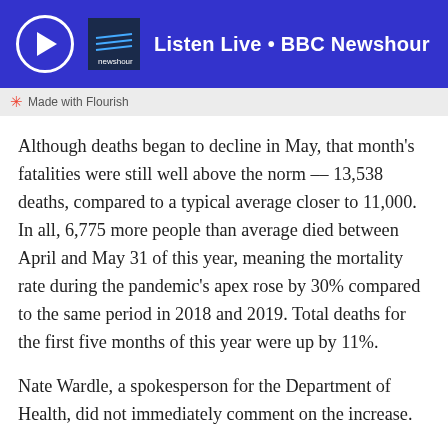Listen Live • BBC Newshour
Made with Flourish
Although deaths began to decline in May, that month's fatalities were still well above the norm –– 13,538 deaths, compared to a typical average closer to 11,000. In all, 6,775 more people than average died between April and May 31 of this year, meaning the mortality rate during the pandemic's apex rose by 30% compared to the same period in 2018 and 2019. Total deaths for the first five months of this year were up by 11%.
Nate Wardle, a spokesperson for the Department of Health, did not immediately comment on the increase.
“We have not done any assessments yet at the aggregate